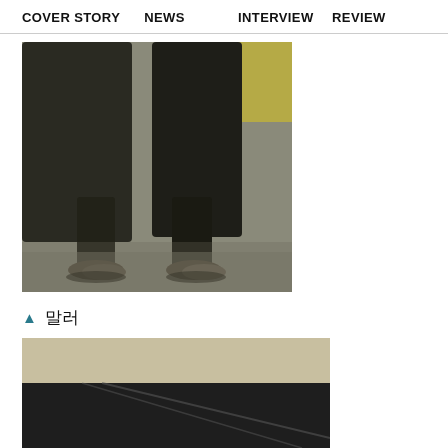COVER STORY   NEWS   INTERVIEW   REVIEW
[Figure (photo): Close-up black and white photo of two people's legs and feet in dress shoes, standing on rough ground. A hint of yellow/gold color in the upper right corner of the image.]
▲ 말러
[Figure (photo): Partially visible photo showing a light beige/tan upper portion and a dark lower portion with what appears to be a diagonal line or surface.]